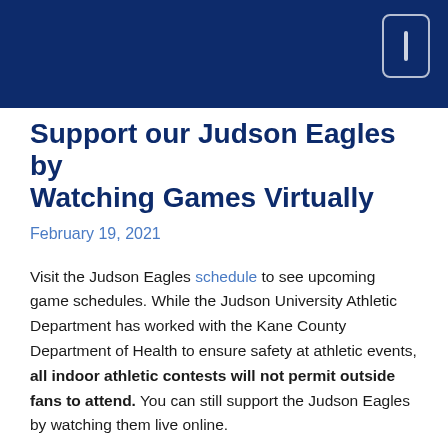Support our Judson Eagles by Watching Games Virtually
February 19, 2021
Visit the Judson Eagles schedule to see upcoming game schedules. While the Judson University Athletic Department has worked with the Kane County Department of Health to ensure safety at athletic events, all indoor athletic contests will not permit outside fans to attend. You can still support the Judson Eagles by watching them live online.